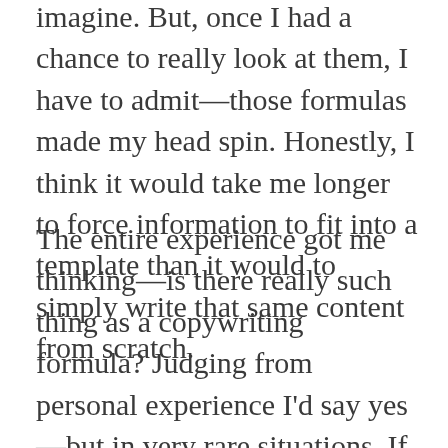imagine. But, once I had a chance to really look at them, I have to admit—those formulas made my head spin. Honestly, I think it would take me longer to force information to fit into a template than it would to simply write that same content from scratch.
The entire experience got me thinking—is there really such thing as a copywriting formula? Judging from personal experience I'd say yes—but in very rare situations. If you're sending out a standard press release—say, announcing the opening of a new office—then sure. Certain types of speeches could probably benefit from a fill-in-the-blanks approach also. But things you write in